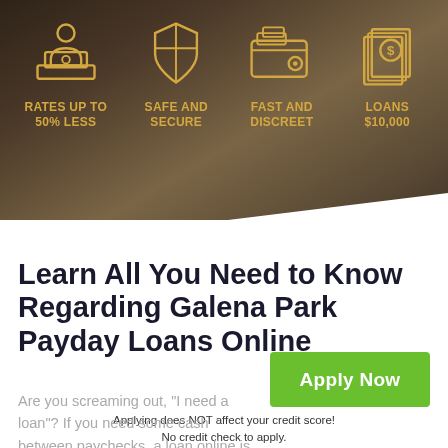[Figure (infographic): Dark brownish hero banner with four golden outline icons: laptop/person icon, shield icon, wallet icon, and house/money icon. Each icon has a label below it in gold uppercase text.]
RATES UP TO 50% LESS
SAFE AND SECURE
FAST AND DISCREET
LOANS $10,000
Learn All You Need to Know Regarding Galena Park Payday Loans Online
Apply Now
Applying does NOT affect your credit score!
No credit check to apply.
Are you screaming out, "I need a loan"? If you need some cash between paychecks, a loan online is a great option. There are perfect for emergency situations...